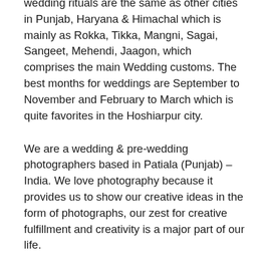wedding rituals are the same as other cities in Punjab, Haryana & Himachal which is mainly as Rokka, Tikka, Mangni, Sagai, Sangeet, Mehendi, Jaagon, which comprises the main Wedding customs. The best months for weddings are September to November and February to March which is quite favorites in the Hoshiarpur city.
We are a wedding & pre-wedding photographers based in Patiala (Punjab) – India. We love photography because it provides us to show our creative ideas in the form of photographs, our zest for creative fulfillment and creativity is a major part of our life.
At IRIS Image studio, Jatinder & Deepa, together, we are mainly into wedding photography and pre-wedding shoots, but